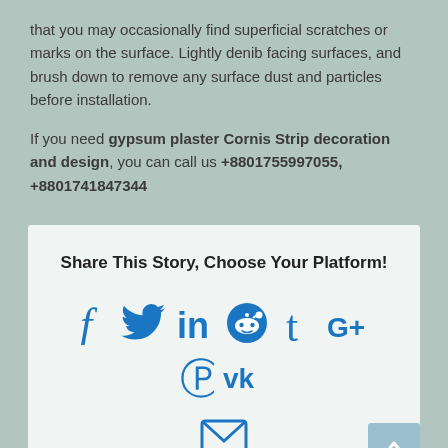that you may occasionally find superficial scratches or marks on the surface. Lightly denib facing surfaces, and brush down to remove any surface dust and particles before installation.
If you need gypsum plaster Cornis Strip decoration and design, you can call us +8801755997055, +8801741847344
Share This Story, Choose Your Platform!
[Figure (infographic): Social media sharing icons: Facebook, Twitter, LinkedIn, Reddit, Tumblr, Google+, Pinterest, VK, and Email]
Related Posts